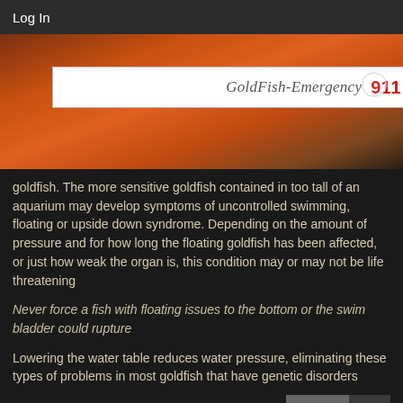Log In
[Figure (screenshot): Hero image with goldfish/orange background and GoldFish-Emergency 911 RESCUE logo banner]
goldfish. The more sensitive goldfish contained in too tall of an aquarium may develop symptoms of uncontrolled swimming, floating or upside down syndrome. Depending on the amount of pressure and for how long the floating goldfish has been affected, or just how weak the organ is, this condition may or may not be life threatening
Never force a fish with floating issues to the bottom or the swim bladder could rupture
Lowering the water table reduces water pressure, eliminating these types of problems in most goldfish that have genetic disorders
Parts of a Goldfish
The swim bladder organ is connected to the intestinal tract